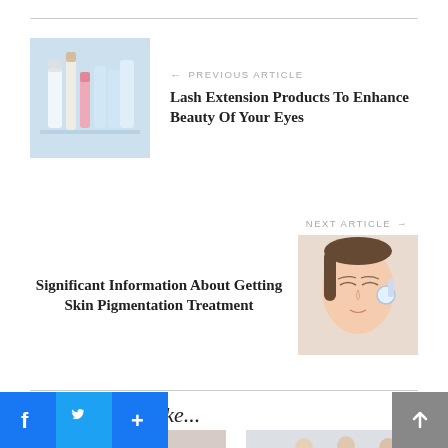← PREVIOUS ARTICLE
Lash Extension Products To Enhance Beauty Of Your Eyes
[Figure (photo): Photo of lash extension products — bottles and sprays on a surface]
NEXT ARTICLE →
Significant Information About Getting Skin Pigmentation Treatment
[Figure (photo): Photo of a woman receiving skin treatment with a device]
You may also like...
[Figure (photo): Close-up of hands applying eyeliner]
[Figure (photo): Group of people in white shirts standing together]